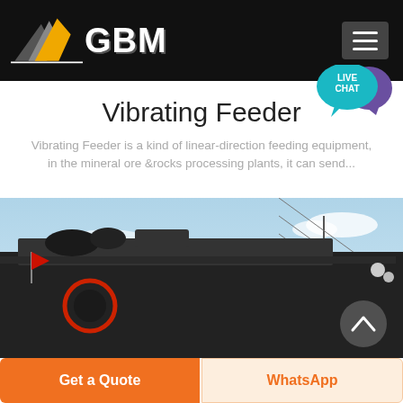GBM
Vibrating Feeder
Vibrating Feeder is a kind of linear-direction feeding equipment, in the mineral ore &rocks processing plants, it can send...
[Figure (photo): Industrial vibrating feeder machine photographed from below against a blue sky with power lines visible in the background. Red flags and circular mechanical components visible on the machine.]
Get a Quote
WhatsApp